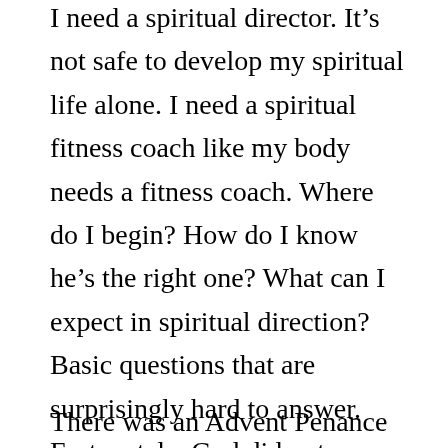I need a spiritual director.  It's not safe to develop my spiritual life alone.  I need a spiritual fitness coach like my body needs a fitness coach.  Where do I begin?  How do I know he's the right one?  What can I expect in spiritual direction?  Basic questions that are surprisingly hard to answer.  Fortunately, God did not abandon me.  I see the light.  And, I'd like to share, in case others might be facing the same problem.
There was an Advent Penance Service on